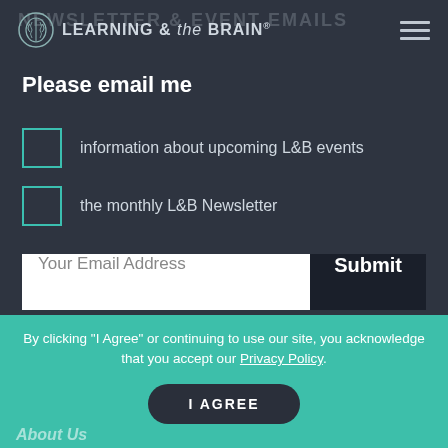NEWSLETTER & EVENT EMAILS
[Figure (logo): Learning & the Brain logo with brain icon]
Please email me
information about upcoming L&B events
the monthly L&B Newsletter
Your Email Address
Submit
By clicking “I Agree” or continuing to use our site, you acknowledge that you accept our Privacy Policy.
I AGREE
About Us